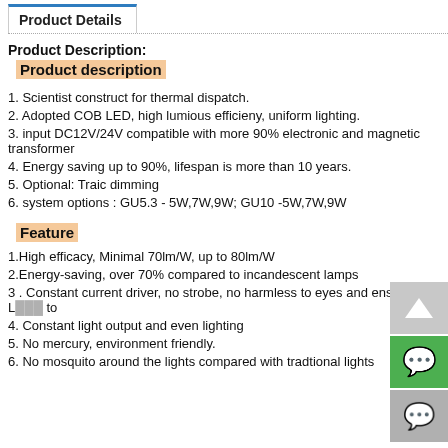Product Details
Product Description:
Product description
1. Scientist construct for thermal dispatch.
2. Adopted COB LED, high lumious efficieny, uniform lighting.
3. input DC12V/24V compatible with more 90% electronic and magnetic transformer
4. Energy saving up to 90%, lifespan is more than 10 years.
5. Optional: Traic dimming
6. system options : GU5.3 - 5W,7W,9W; GU10  -5W,7W,9W
Feature
1.High efficacy, Minimal 70lm/W, up to 80lm/W
2.Energy-saving, over 70% compared to incandescent lamps
3. Constant current driver, no strobe, no harmless to eyes and ensure L to
4. Constant light output and even lighting
5. No mercury, environment friendly.
6. No mosquito around the lights compared with tradtional lights